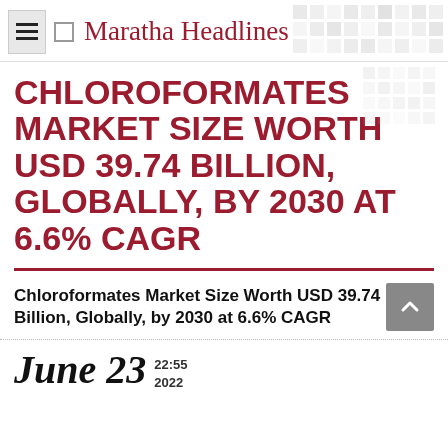Maratha Headlines
CHLOROFORMATES MARKET SIZE WORTH USD 39.74 BILLION, GLOBALLY, BY 2030 AT 6.6% CAGR
Chloroformates Market Size Worth USD 39.74 Billion, Globally, by 2030 at 6.6% CAGR
June 23  22:55  2022